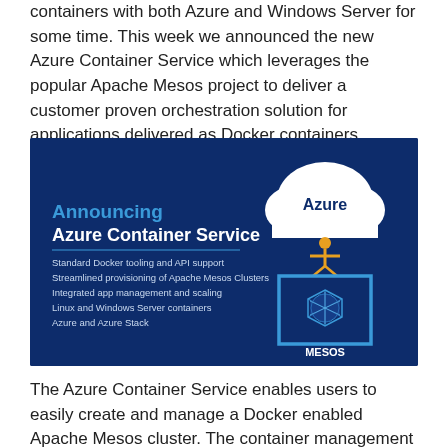containers with both Azure and Windows Server for some time. This week we announced the new Azure Container Service which leverages the popular Apache Mesos project to deliver a customer proven orchestration solution for applications delivered as Docker containers.
[Figure (infographic): Dark blue banner announcing Azure Container Service. Left side shows text: 'Announcing Azure Container Service' with bullet points: Standard Docker tooling and API support, Streamlined provisioning of Apache Mesos Clusters, Integrated app management and scaling, Linux and Windows Server containers, Azure and Azure Stack. Right side shows Azure cloud logo connected to Mesos hexagon logo.]
The Azure Container Service enables users to easily create and manage a Docker enabled Apache Mesos cluster. The container management software running on these clusters is open source, and in addition to the